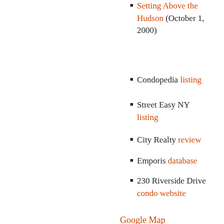Setting Above the Hudson (October 1, 2000)
Condopedia listing
Street Easy NY listing
City Realty review
Emporis database
230 Riverside Drive condo website
Google Map
Share this:
Facebook  Twitter